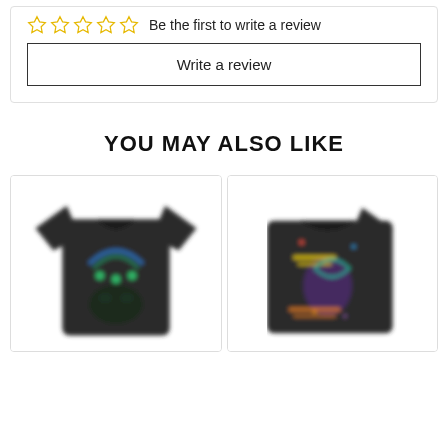☆☆☆☆☆  Be the first to write a review
Write a review
YOU MAY ALSO LIKE
[Figure (photo): Dark t-shirt with blue/teal rainbow arc and small alien figures design]
[Figure (photo): Dark t-shirt with colorful space/alien themed graphic design, partially cropped]